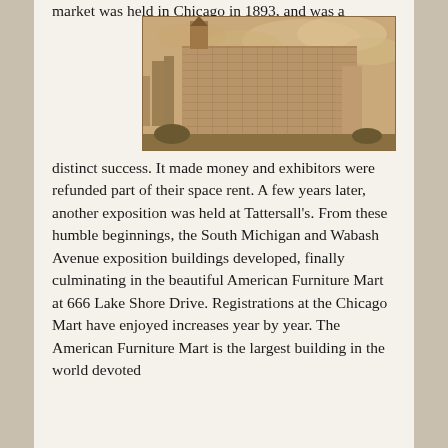market was held in Chicago in 1893, and was a
[Figure (photo): Sepia-toned historical illustration/photograph of a large multi-story building, appearing to be the American Furniture Mart at 666 Lake Shore Drive in Chicago. The tall building has a distinctive tower/spire at the top and is depicted in a sepia/brownish tone with clouds in the background.]
distinct success. It made money and exhibitors were refunded part of their space rent. A few years later, another exposition was held at Tattersall's. From these humble beginnings, the South Michigan and Wabash Avenue exposition buildings developed, finally culminating in the beautiful American Furniture Mart at 666 Lake Shore Drive. Registrations at the Chicago Mart have enjoyed increases year by year. The American Furniture Mart is the largest building in the world devoted